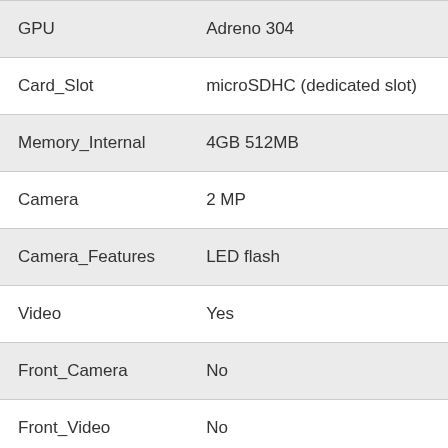| Feature | Value |
| --- | --- |
| GPU | Adreno 304 |
| Card_Slot | microSDHC (dedicated slot) |
| Memory_Internal | 4GB 512MB |
| Camera | 2 MP |
| Camera_Features | LED flash |
| Video | Yes |
| Front_Camera | No |
| Front_Video | No |
| Loudspeaker | Yes |
| Sound_Jack | Yes |